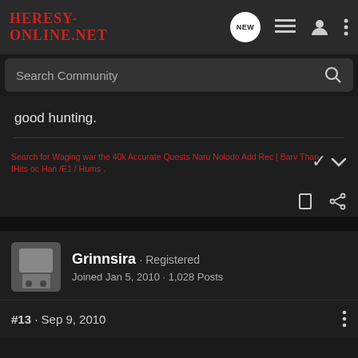Heresy-Online.net
Search Community
good hunting.
Search for Waging war the 40k Accurate Quests Naru Nolodo Add Rec | Barv Than IHits oc Han /E1 / Hums .
Grinnsira · Registered
Joined Jan 5, 2010 · 1,028 Posts
#13 · Sep 9, 2010